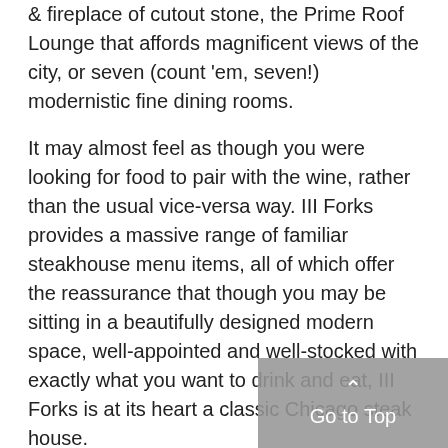& fireplace of cutout stone, the Prime Roof Lounge that affords magnificent views of the city, or seven (count 'em, seven!) modernistic fine dining rooms.
It may almost feel as though you were looking for food to pair with the wine, rather than the usual vice-versa way. III Forks provides a massive range of familiar steakhouse menu items, all of which offer the reassurance that though you may be sitting in a beautifully designed modern space, well-appointed and well-stocked with exactly what you want to drink and eat, III Forks is at its heart a classic Chicago steak house.
The starters include ahi tuna, crab cakes, onion rings: all the recognizable opening bites that you'd expect at any Chicago steak house. But III Forks throws in a few surprises, like the Hudson Valley Foie Gras, a meat once forbidden by Chicago City Council ordinance, now recognized as humanely raised and enjoyed throughout the city...
[Figure (other): Go to Top button overlay in bottom-right corner with upward arrow icon]